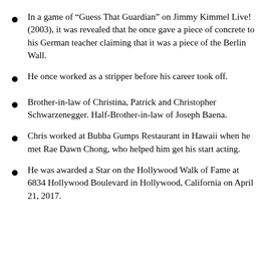In a game of “Guess That Guardian” on Jimmy Kimmel Live! (2003), it was revealed that he once gave a piece of concrete to his German teacher claiming that it was a piece of the Berlin Wall.
He once worked as a stripper before his career took off.
Brother-in-law of Christina, Patrick and Christopher Schwarzenegger. Half-Brother-in-law of Joseph Baena.
Chris worked at Bubba Gumps Restaurant in Hawaii when he met Rae Dawn Chong, who helped him get his start acting.
He was awarded a Star on the Hollywood Walk of Fame at 6834 Hollywood Boulevard in Hollywood, California on April 21, 2017.